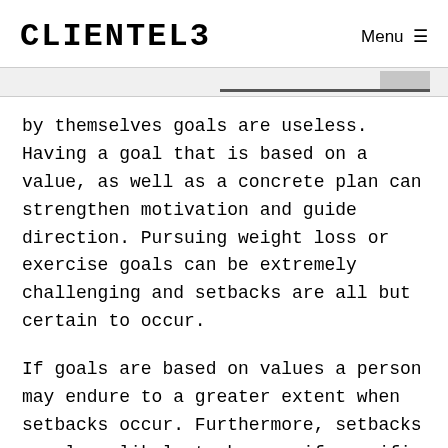CLIENTEL3  Menu
by themselves goals are useless. Having a goal that is based on a value, as well as a concrete plan can strengthen motivation and guide direction. Pursuing weight loss or exercise goals can be extremely challenging and setbacks are all but certain to occur.
If goals are based on values a person may endure to a greater extent when setbacks occur. Furthermore, setbacks are less likely to happen if specific behaviors are consistently performed. Please consider this if you want to achieve your